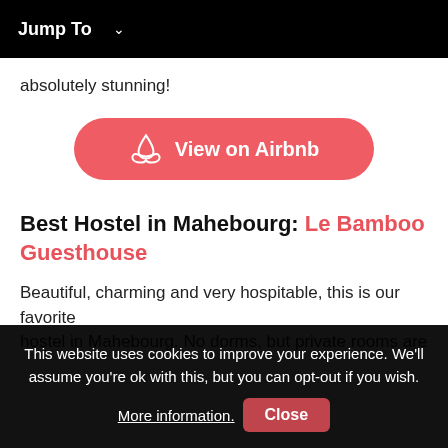Jump To ∨
absolutely stunning!
[Figure (other): Airbnb button with logo and text 'View on Airbnb', coral/red rounded rectangle button]
Best Hostel in Mahebourg: Le Bamboo Guesthouse
Beautiful, charming and very hospitable, this is our favorite hostel in Mahebourg. No dorms, but private rooms are
This website uses cookies to improve your experience. We'll assume you're ok with this, but you can opt-out if you wish. More information. Close